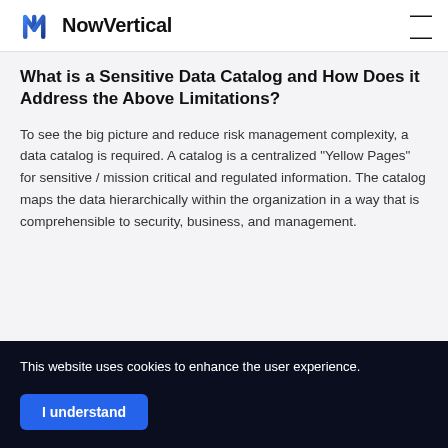NowVertical
What is a Sensitive Data Catalog and How Does it Address the Above Limitations?
To see the big picture and reduce risk management complexity, a data catalog is required. A catalog is a centralized “Yellow Pages” for sensitive / mission critical and regulated information. The catalog maps the data hierarchically within the organization in a way that is comprehensible to security, business, and management.
This website uses cookies to enhance the user experience.
I understand